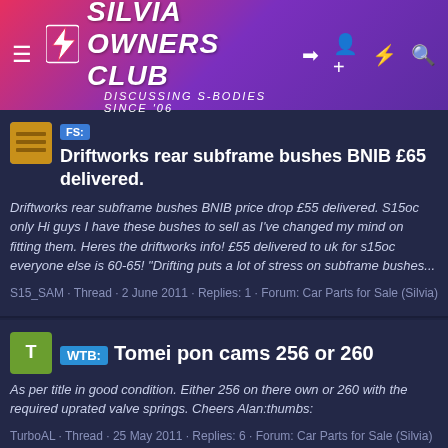SILVIA OWNERS CLUB — Discussing S-Bodies Since '06
FS: Driftworks rear subframe bushes BNIB £65 delivered.
Driftworks rear subframe bushes BNIB price drop £55 delivered. S15oc only Hi guys I have these bushes to sell as I've changed my mind on fitting them. Heres the driftworks info! £55 delivered to uk for s15oc everyone else is 60-65! "Drifting puts a lot of stress on subframe bushes...
S15_SAM · Thread · 2 June 2011 · Replies: 1 · Forum: Car Parts for Sale (Silvia)
WTB: Tomei pon cams 256 or 260
As per title in good condition. Either 256 on there own or 260 with the required uprated valve springs. Cheers Alan:thumbs:
TurboAL · Thread · 25 May 2011 · Replies: 6 · Forum: Car Parts for Sale (Silvia)
uprated oil pump (not fuel pump)